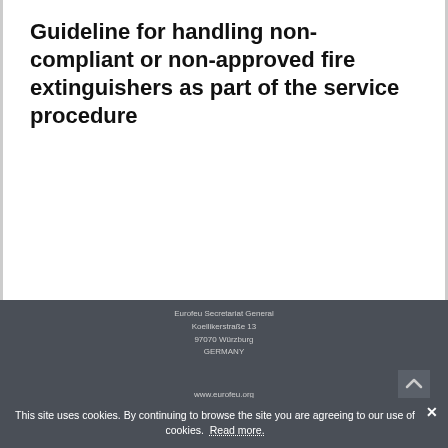Guideline for handling non-compliant or non-approved fire extinguishers as part of the service procedure
Eurofeu Secretariat General
Koellikerstraße 13
97070 Würzburg
GERMANY

www.eurofeu.org
This site uses cookies. By continuing to browse the site you are agreeing to our use of cookies. Read more.